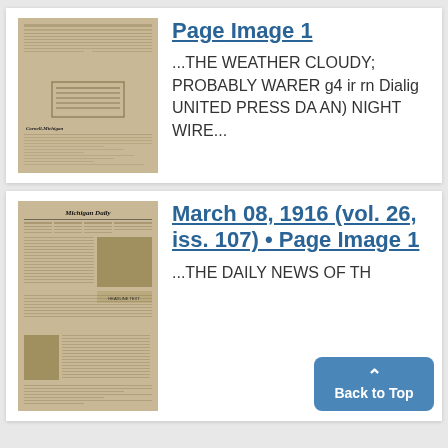[Figure (photo): Thumbnail of a newspaper page (Cornell-Michigan), yellowed/aged, with text columns and a boxed section]
Page Image 1
...THE WEATHER CLOUDY; PROBABLY WARER g4 ir rn Dialig UNITED PRESS DA AN) NIGHT WIRE...
[Figure (photo): Thumbnail of Michigan Daily newspaper front page, March 08 1916, with columns, photos, and headlines]
March 08, 1916 (vol. 26, iss. 107) • Page Image 1
...THE DAILY NEWS OF TH...